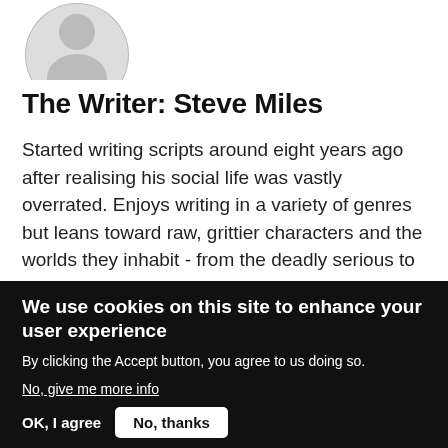[Figure (photo): Partial view of a circular avatar/profile photo placeholder showing a gray silhouette person icon, cropped at the top]
The Writer: Steve Miles
Started writing scripts around eight years ago after realising his social life was vastly overrated. Enjoys writing in a variety of genres but leans toward raw, grittier characters and the worlds they inhabit - from the deadly serious to the darkly comic. Drinks coffee, owns an unhealthy amount of plaid and uses a calculator for the most basic of sums. Go to bio
We use cookies on this site to enhance your user experience
By clicking the Accept button, you agree to us doing so.
No, give me more info
OK, I agree   No, thanks